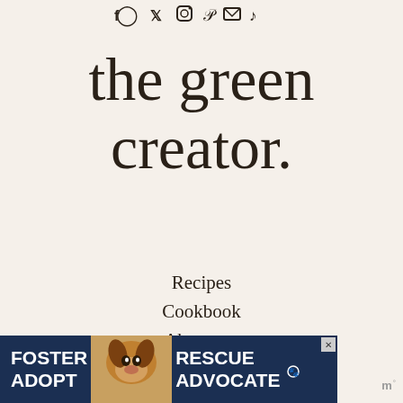[Figure (other): Social media icons row: Facebook, Twitter, Instagram, Pinterest, Email, TikTok]
the green creator.
Recipes
Cookbook
About me
Contact
Privacy
Disclaimer
[Figure (other): Advertisement banner: FOSTER ADOPT / RESCUE ADVOCATE with a dog photo on dark blue background]
[Figure (logo): Mediavine logo watermark at bottom right]